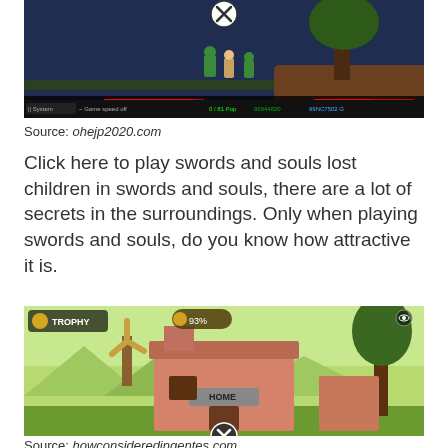[Figure (screenshot): A side-scrolling combat game screenshot showing characters fighting on a dark night level with health bars at the bottom and game HUD]
Source: ohejp2020.com
Click here to play swords and souls lost children in swords and souls, there are a lot of secrets in the surroundings. Only when playing swords and souls, do you know how attractive it is.
[Figure (screenshot): A colorful game screenshot showing a village with a pink building labeled HOME, a windmill, and a trophy HUD element showing 93%]
Source: howconsideredingentes.com